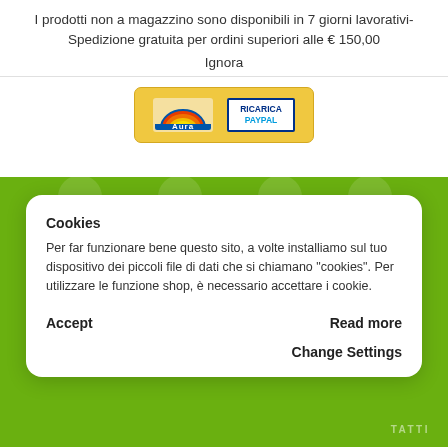I prodotti non a magazzino sono disponibili in 7 giorni lavorativi-Spedizione gratuita per ordini superiori alle € 150,00
Ignora
[Figure (logo): Payment logos: Aura and Ricarica Paypal inside a gold/yellow rounded box]
Cookies
Per far funzionare bene questo sito, a volte installiamo sul tuo dispositivo dei piccoli file di dati che si chiamano "cookies". Per utilizzare le funzione shop, è necessario accettare i cookie.
Accept
Read more
Change Settings